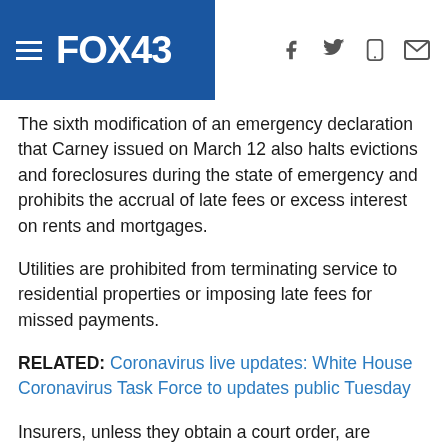FOX43
The sixth modification of an emergency declaration that Carney issued on March 12 also halts evictions and foreclosures during the state of emergency and prohibits the accrual of late fees or excess interest on rents and mortgages.
Utilities are prohibited from terminating service to residential properties or imposing late fees for missed payments.
RELATED: Coronavirus live updates: White House Coronavirus Task Force to updates public Tuesday
Insurers, unless they obtain a court order, are prohibited from terminating policies because covered policyholders do not pay premiums or interest on premiums that are due during the state of emergency. That restriction protects any individual policyholder who has been laid off or fired because of the conditions imposed by the state of